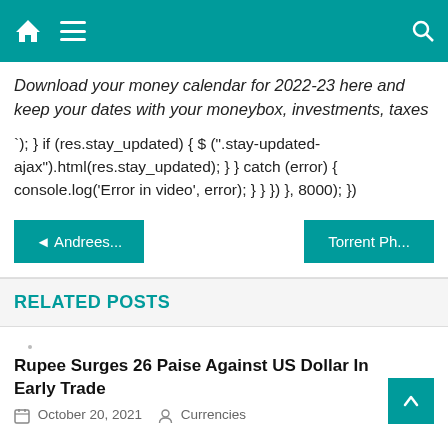Navigation bar with home, menu, and search icons
Download your money calendar for 2022-23 here and keep your dates with your moneybox, investments, taxes
`); } if (res.stay_updated) { $ (".stay-updated-ajax").html(res.stay_updated); } } catch (error) { console.log('Error in video', error); } } }) }, 8000); })
◄ Andrees...
Torrent Ph...
RELATED POSTS
Rupee Surges 26 Paise Against US Dollar In Early Trade
October 20, 2021   Currencies